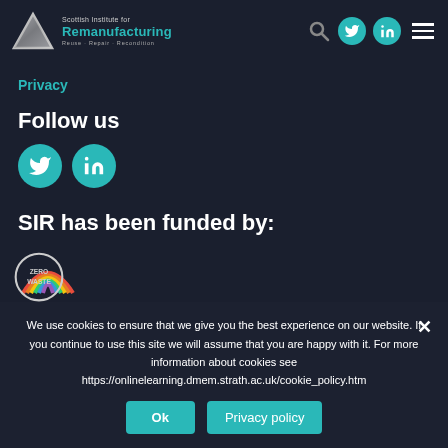[Figure (logo): Scottish Institute for Remanufacturing logo with triangle icon and text 'Reuse · Repair · Recondition']
[Figure (logo): Social media and navigation icons in header: search, Twitter, LinkedIn, hamburger menu]
Privacy
Follow us
[Figure (logo): Twitter and LinkedIn social media icons in teal circles]
SIR has been funded by:
[Figure (logo): Rainbow/arc logo for a funding organization]
We use cookies to ensure that we give you the best experience on our website. If you continue to use this site we will assume that you are happy with it. For more information about cookies see https://onlinelearning.dmem.strath.ac.uk/cookie_policy.htm
[Figure (logo): Zero Waste logo partially visible at bottom left]
Ok
Privacy policy